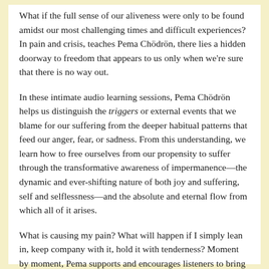What if the full sense of our aliveness were only to be found amidst our most challenging times and difficult experiences? In pain and crisis, teaches Pema Chödrön, there lies a hidden doorway to freedom that appears to us only when we're sure that there is no way out.
In these intimate audio learning sessions, Pema Chödrön helps us distinguish the triggers or external events that we blame for our suffering from the deeper habitual patterns that feed our anger, fear, or sadness. From this understanding, we learn how to free ourselves from our propensity to suffer through the transformative awareness of impermanence—the dynamic and ever-shifting nature of both joy and suffering, self and selflessness—and the absolute and eternal flow from which all of it arises.
What is causing my pain? What will happen if I simply lean in, keep company with it, hold it with tenderness? Moment by moment, Pema supports and encourages listeners to bring an openhearted sense of curiosity and welcoming to our moments that are difficult, not to turn away, and to learn the